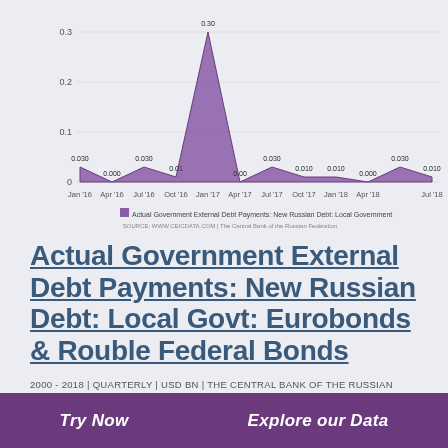[Figure (area-chart): Actual Government External Debt Payments: New Russian Debt: Local Government]
Actual Government External Debt Payments: New Russian Debt: Local Govt: Eurobonds & Rouble Federal Bonds
2000 - 2018 | QUARTERLY | USD BN | THE CENTRAL BANK OF THE RUSSIAN FEDERATION
Actual Government External Debt Payments: New Russian
Try Now   Explore our Data